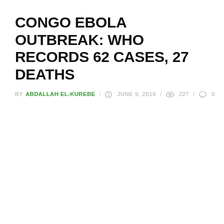CONGO EBOLA OUTBREAK: WHO RECORDS 62 CASES, 27 DEATHS
BY ABDALLAH EL-KUREBE / JUNE 9, 2018 / 227 / 0